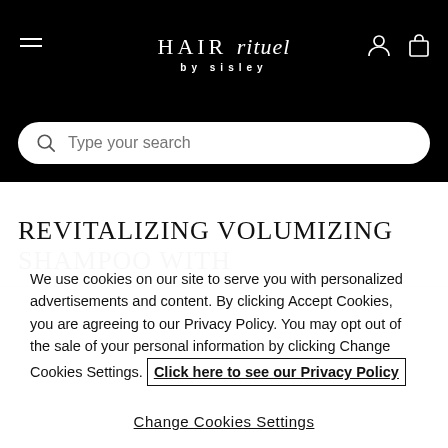[Figure (logo): Hair Rituel by Sisley Paris logo in white on black header, with hamburger menu icon on left and user/bag icons on right]
[Figure (screenshot): Search bar with magnifying glass icon and placeholder text 'Type your search' on black background]
REVITALIZING VOLUMIZING SHAMPOO WITH
We use cookies on our site to serve you with personalized advertisements and content. By clicking Accept Cookies, you are agreeing to our Privacy Policy. You may opt out of the sale of your personal information by clicking Change Cookies Settings. Click here to see our Privacy Policy
Change Cookies Settings
Accept Cookies